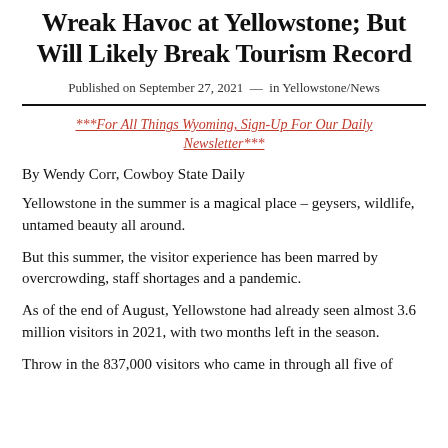Wreak Havoc at Yellowstone; But Will Likely Break Tourism Record
Published on September 27, 2021  —  in Yellowstone/News
***For All Things Wyoming, Sign-Up For Our Daily Newsletter***
By Wendy Corr, Cowboy State Daily
Yellowstone in the summer is a magical place – geysers, wildlife, untamed beauty all around.
But this summer, the visitor experience has been marred by overcrowding, staff shortages and a pandemic.
As of the end of August, Yellowstone had already seen almost 3.6 million visitors in 2021, with two months left in the season.
Throw in the 837,000 visitors who came in through all five of